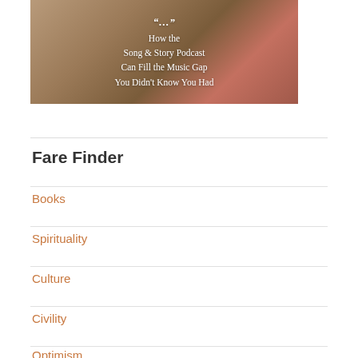[Figure (illustration): Book/podcast cover image showing a guitar neck with text overlay: 'How the Song & Story Podcast Can Fill the Music Gap You Didn't Know You Had']
Fare Finder
Books
Spirituality
Culture
Civility
Optimism